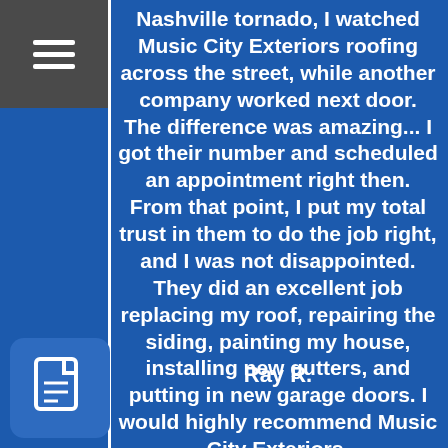Nashville tornado, I watched Music City Exteriors roofing across the street, while another company worked next door. The difference was amazing... I got their number and scheduled an appointment right then. From that point, I put my total trust in them to do the job right, and I was not disappointed. They did an excellent job replacing my roof, repairing the siding, painting my house, installing new gutters, and putting in new garage doors. I would highly recommend Music City Exteriors.
Ray R.